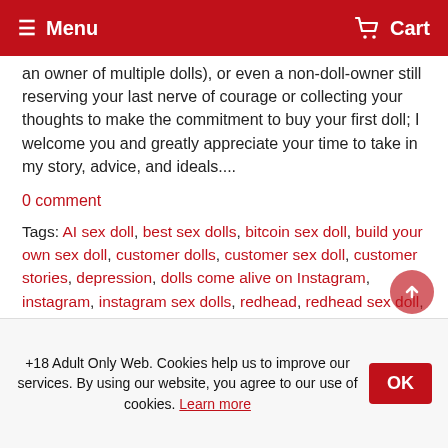Menu   Cart
an owner of multiple dolls), or even a non-doll-owner still reserving your last nerve of courage or collecting your thoughts to make the commitment to buy your first doll; I welcome you and greatly appreciate your time to take in my story, advice, and ideals....
0 comment
Tags: AI sex doll, best sex dolls, bitcoin sex doll, build your own sex doll, customer dolls, customer sex doll, customer stories, depression, dolls come alive on Instagram, instagram, instagram sex dolls, redhead, redhead sex doll, rosaline, sex doll anxiety, social media sex doll memes
Read more →
7 Reasons Why Women Buy Sex Dolls
+18 Adult Only Web. Cookies help us to improve our services. By using our website, you agree to our use of cookies. Learn more   OK